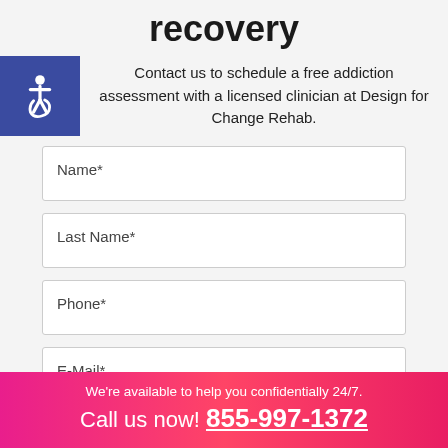recovery
Contact us to schedule a free addiction assessment with a licensed clinician at Design for Change Rehab.
Name*
Last Name*
Phone*
E-Mail*
We're available to help you confidentially 24/7.
Call us now! 855-997-1372